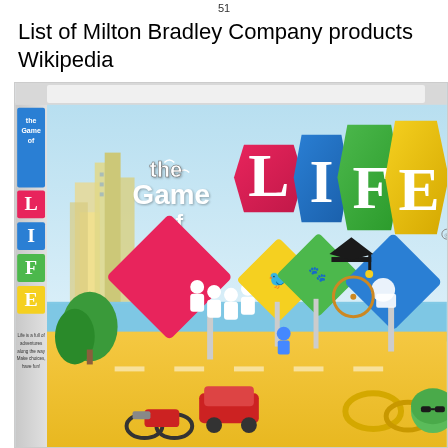51
List of Milton Bradley Company products Wikipedia
[Figure (photo): Photo of The Game of LIFE board game box. The box shows colorful signage-style letters spelling out 'the Game of LIFE' with L in pink/red, I in blue, F in green, E in yellow. The box art depicts a cartoon-style road scene with city buildings, colorful diamond road signs with people icons, trees, and small cars/characters on a yellow road landscape.]